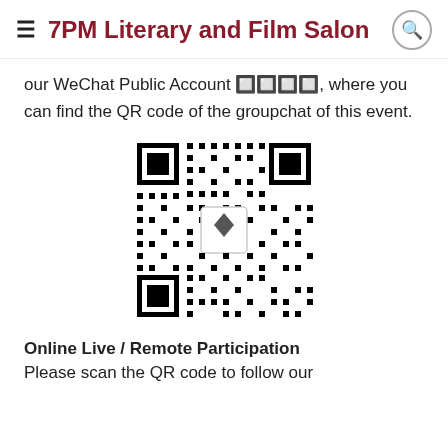7PM Literary and Film Salon
our WeChat Public Account 📷📷📷📷, where you can find the QR code of the groupchat of this event.
[Figure (other): QR code image with a logo in the center, black and white squares pattern]
Online Live / Remote Participation
Please scan the QR code to follow our